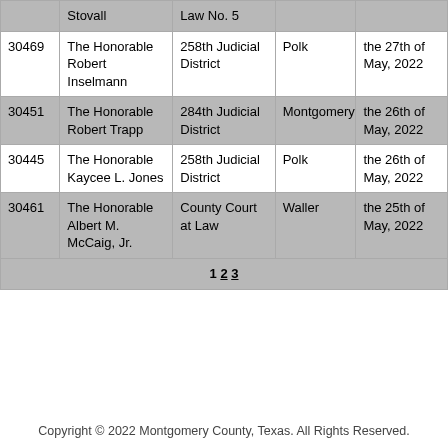| Case No. | Judge | Court | County | Date |
| --- | --- | --- | --- | --- |
|  | Stovall | Law No. 5 |  |  |
| 30469 | The Honorable Robert Inselmann | 258th Judicial District | Polk | the 27th of May, 2022 |
| 30451 | The Honorable Robert Trapp | 284th Judicial District | Montgomery | the 26th of May, 2022 |
| 30445 | The Honorable Kaycee L. Jones | 258th Judicial District | Polk | the 26th of May, 2022 |
| 30461 | The Honorable Albert M. McCaig, Jr. | County Court at Law | Waller | the 25th of May, 2022 |
| 1 2 3 |  |  |  |  |
Copyright © 2022 Montgomery County, Texas. All Rights Reserved.